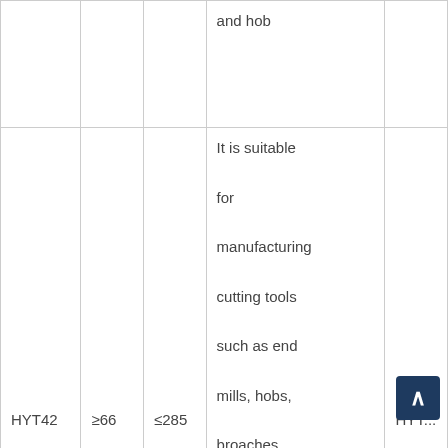|  |  |  | and hob |  |
| HYT42 | ≥66 | ≤285 | It is suitable for manufacturing cutting tools such as end mills, hobs, broaches, turning tools and planers for heavy and continuous cutting | HYT... |